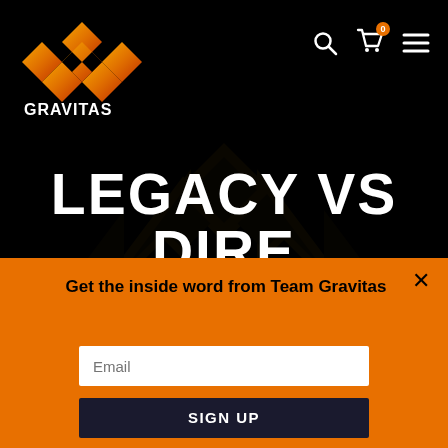[Figure (logo): Gravitas esports logo — geometric diamond/cross shape in orange-to-red gradient above the text GRAVITAS in white bold]
[Figure (infographic): Navigation icons: search magnifying glass, shopping cart with orange badge showing 0, hamburger menu — white on black background]
[Figure (logo): Large semi-transparent dark Gravitas logo watermark centered on the black background]
LEGACY VS DIRE
Get the inside word from Team Gravitas
Email
SIGN UP